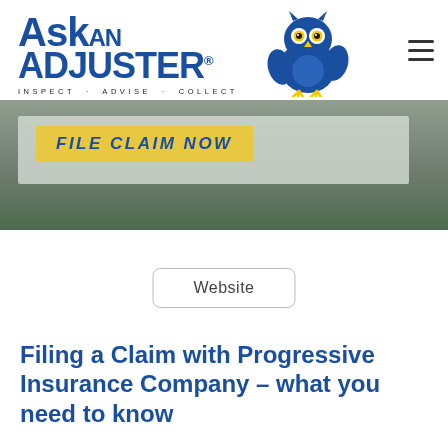Ask AN ADJUSTER® INSPECT · ADVISE · COLLECT
[Figure (illustration): Blue cartoon owl mascot for Ask An Adjuster]
[Figure (screenshot): Hero banner with FILE CLAIM NOW button on yellow background, overlaid on greenish textured background]
Website
Filing a Claim with Progressive Insurance Company – what you need to know